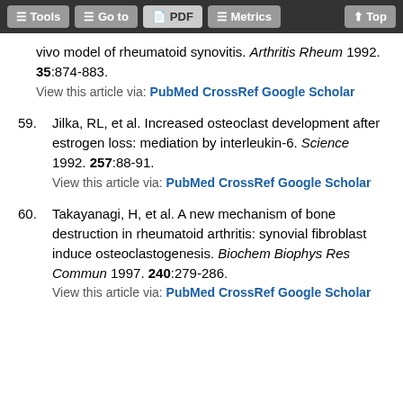Tools | Go to | PDF | Metrics | Top
vivo model of rheumatoid synovitis. Arthritis Rheum 1992. 35:874-883.
View this article via: PubMed CrossRef Google Scholar
59. Jilka, RL, et al. Increased osteoclast development after estrogen loss: mediation by interleukin-6. Science 1992. 257:88-91.
View this article via: PubMed CrossRef Google Scholar
60. Takayanagi, H, et al. A new mechanism of bone destruction in rheumatoid arthritis: synovial fibroblast induce osteoclastogenesis. Biochem Biophys Res Commun 1997. 240:279-286.
View this article via: PubMed CrossRef Google Scholar